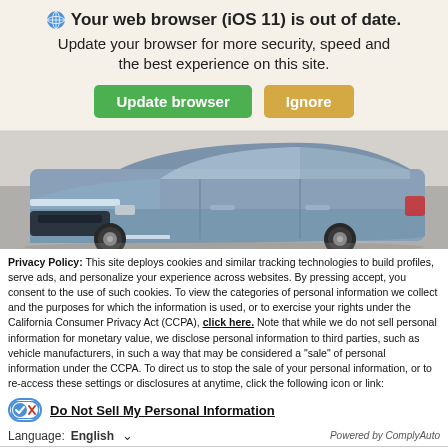Your web browser (iOS 11) is out of date. Update your browser for more security, speed and the best experience on this site.
[Figure (screenshot): Two buttons: 'Update browser' (green) and 'Ignore' (tan/gold)]
[Figure (photo): Photo of a blue Hyundai IONIQ 5 electric SUV parked in a modern setting, front three-quarter view.]
Privacy Policy: This site deploys cookies and similar tracking technologies to build profiles, serve ads, and personalize your experience across websites. By pressing accept, you consent to the use of such cookies. To view the categories of personal information we collect and the purposes for which the information is used, or to exercise your rights under the California Consumer Privacy Act (CCPA), click here. Note that while we do not sell personal information for monetary value, we disclose personal information to third parties, such as vehicle manufacturers, in such a way that may be considered a "sale" of personal information under the CCPA. To direct us to stop the sale of your personal information, or to re-access these settings or disclosures at anytime, click the following icon or link:
Do Not Sell My Personal Information
Language: English
Powered by ComplyAuto
Accept and Continue →
California Privacy Disclosures
×